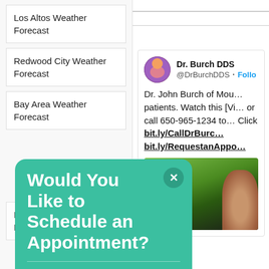Los Altos Weather Forecast
Redwood City Weather Forecast
Bay Area Weather Forecast
[Figure (screenshot): Popup widget with teal background reading 'Would You Like to Schedule an Appointment?' with an orange 'Click Here' button and a 'Free Popup widget' badge]
Dental Cleaning Near Me
[Figure (screenshot): Twitter/X card for Dr. Burch DDS (@DrBurchDDS) with a Follow button, tweet text about Dr. John Burch of Mountain View offering dental services, links bit.ly/CallDrBurch and bit.ly/RequestanAppo, and a photo of a person outdoors]